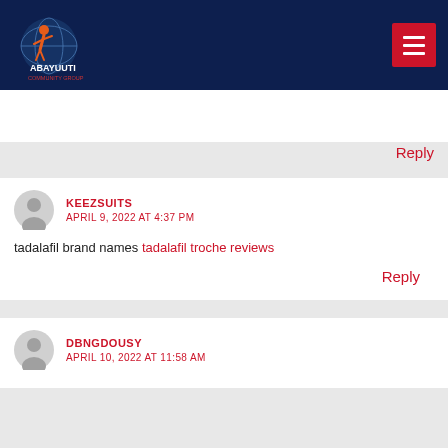ABAYUUTI COMMUNITY GROUP
Reply
KEEZSUITS
APRIL 9, 2022 AT 4:37 PM
tadalafil brand names tadalafil troche reviews
Reply
DBNGDOUSY
APRIL 10, 2022 AT 11:58 AM